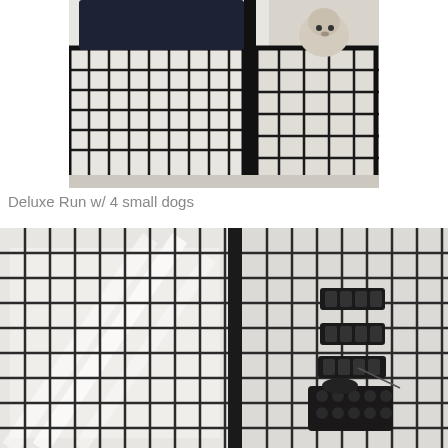[Figure (photo): Black metal dog kennel/run panel with wire grid fencing. A small fluffy white dog (Shih Tzu) is visible in the upper right corner behind the panels. Dark navy/black dog bed visible at top left. Concrete floor underneath.]
Deluxe Run w/ 4 small dogs
[Figure (photo): Close-up of black metal wire grid kennel panels. On the right panel, multiple black plastic bracket/latch hardware pieces are mounted vertically. A white decorative panel or shade is visible through the left panel. Dark metal frame construction.]